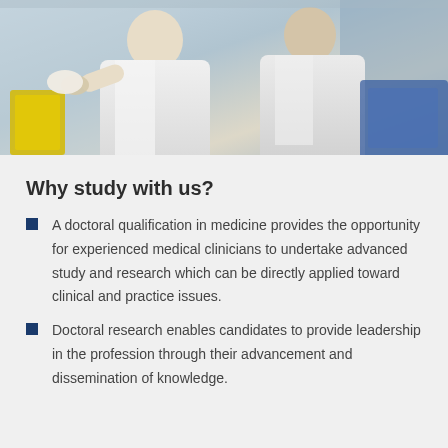[Figure (photo): Two people in white lab coats working in a medical/laboratory setting, one wearing gloves handling materials]
Why study with us?
A doctoral qualification in medicine provides the opportunity for experienced medical clinicians to undertake advanced study and research which can be directly applied toward clinical and practice issues.
Doctoral research enables candidates to provide leadership in the profession through their advancement and dissemination of knowledge.